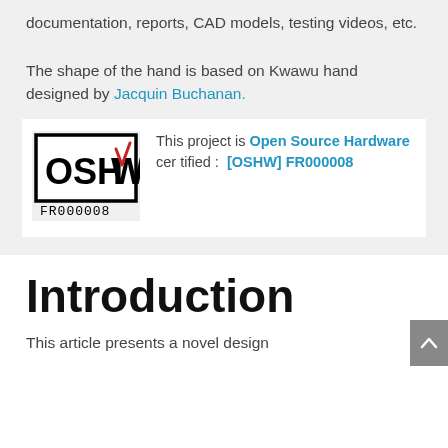documentation, reports, CAD models, testing videos, etc.
The shape of the hand is based on Kwawu hand designed by Jacquin Buchanan.
[Figure (logo): OSHW certification logo with text FR000008 below it, accompanied by text: This project is Open Source Hardware certified : [OSHW] FR000008]
Introduction
This article presents a novel design